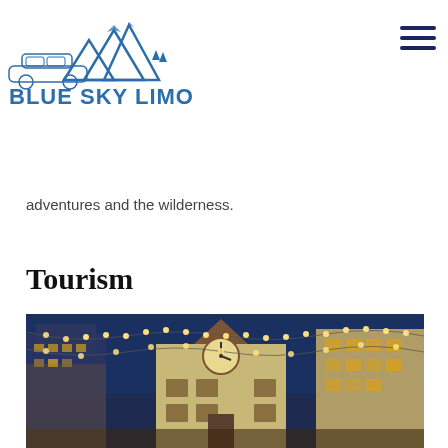Blue Sky Limo logo and navigation
adventures and the wilderness.
Tourism
[Figure (photo): Night-time photo of an ornate building with a clock tower, decorated with string lights strung across the foreground against a deep blue sky.]